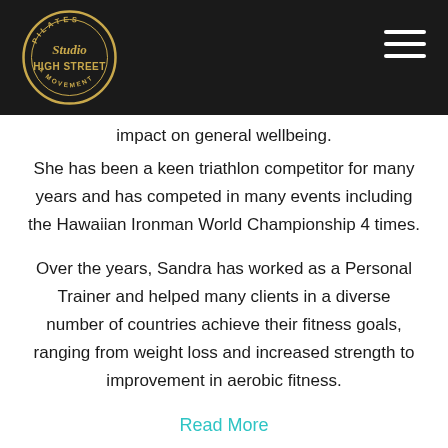Studio High Street Pilates & Movement
impact on general wellbeing.
She has been a keen triathlon competitor for many years and has competed in many events including the Hawaiian Ironman World Championship 4 times.
Over the years, Sandra has worked as a Personal Trainer and helped many clients in a diverse number of countries achieve their fitness goals, ranging from weight loss and increased strength to improvement in aerobic fitness.
Read More